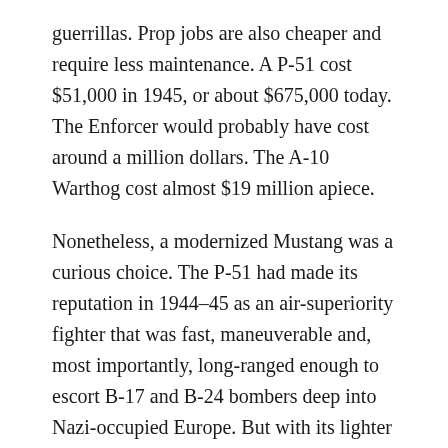guerrillas. Prop jobs are also cheaper and require less maintenance. A P-51 cost $51,000 in 1945, or about $675,000 today. The Enforcer would probably have cost around a million dollars. The A-10 Warthog cost almost $19 million apiece.
Nonetheless, a modernized Mustang was a curious choice. The P-51 had made its reputation in 1944–45 as an air-superiority fighter that was fast, maneuverable and, most importantly, long-ranged enough to escort B-17 and B-24 bombers deep into Nazi-occupied Europe. But with its lighter frame and liquid-cooled engine that would seize up if hit, it was not the ideal ground-attack aircraft; that honor was reserved for the heavier,